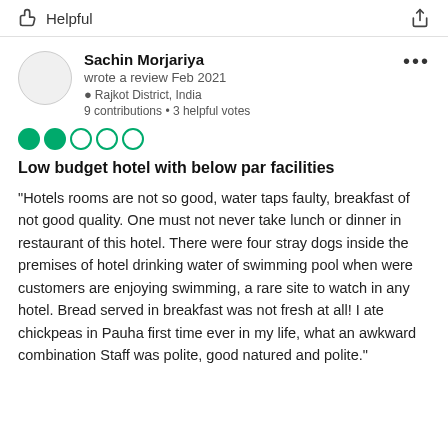Helpful
Sachin Morjariya
wrote a review Feb 2021
Rajkot District, India
9 contributions • 3 helpful votes
[Figure (other): 2 out of 5 bubble rating (2 filled green circles, 3 empty green circles)]
Low budget hotel with below par facilities
“Hotels rooms are not so good, water taps faulty, breakfast of not good quality. One must not never take lunch or dinner in restaurant of this hotel. There were four stray dogs inside the premises of hotel drinking water of swimming pool when were customers are enjoying swimming, a rare site to watch in any hotel. Bread served in breakfast was not fresh at all! I ate chickpeas in Pauha first time ever in my life, what an awkward combination Staff was polite, good natured and polite.”